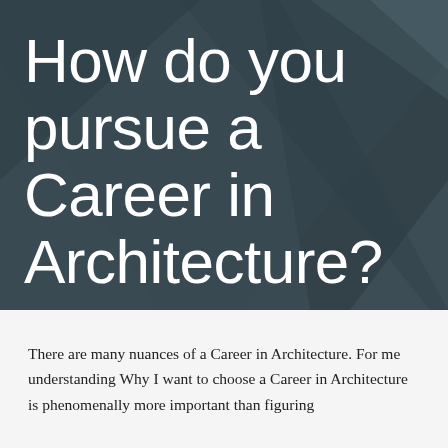How do you pursue a Career in Architecture?
There are many nuances of a Career in Architecture. For me understanding Why I want to choose a Career in Architecture is phenomenally more important than figuring